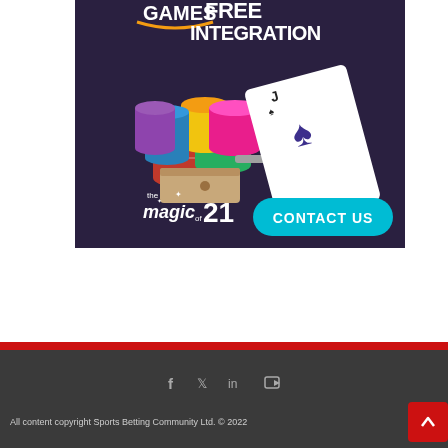[Figure (advertisement): Casino games advertisement showing poker chips and a playing card (Jack of Spades) with a card shoe, text 'GAMES FREE INTEGRATION', 'the magic of 21', and a 'CONTACT US' teal button on a dark purple background.]
All content copyright Sports Betting Community Ltd. © 2022